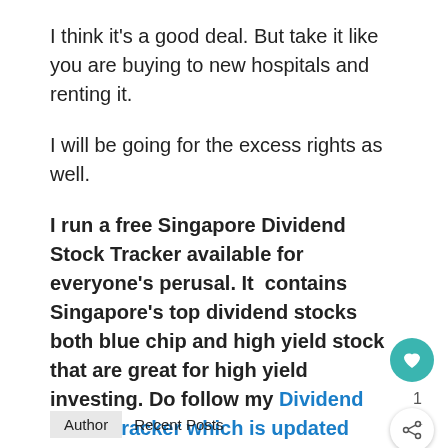I think it's a good deal. But take it like you are buying to new hospitals and renting it.
I will be going for the excess rights as well.
I run a free Singapore Dividend Stock Tracker available for everyone's perusal. It  contains Singapore's top dividend stocks both blue chip and high yield stock that are great for high yield investing. Do follow my Dividend Stock Tracker which is updated nightly  here.
Author   Recent Posts